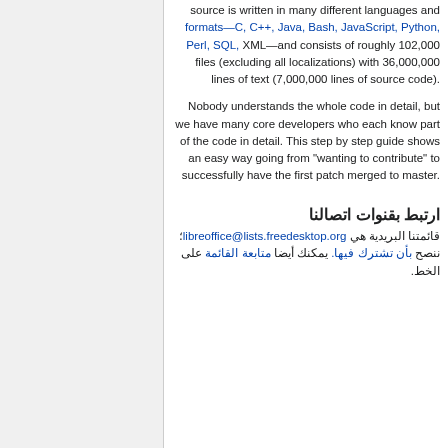source is written in many different languages and formats—C, C++, Java, Bash, JavaScript, Python, Perl, SQL, XML—and consists of roughly 102,000 files (excluding all localizations) with 36,000,000 lines of text (7,000,000 lines of source code).
Nobody understands the whole code in detail, but we have many core developers who each know part of the code in detail. This step by step guide shows an easy way going from "wanting to contribute" to successfully have the first patch merged to master.
ارتبط بقنوات اتصالنا
قائمتنا البريدية هي libreoffice@lists.freedesktop.org؛ ننصح بأن تشترك فيها. يمكنك أيضا متابعة القائمة على الخط.